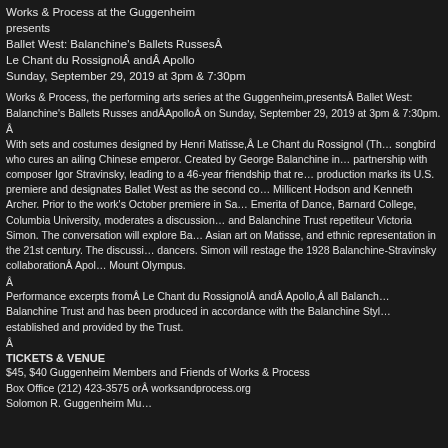Works & Process at the Guggenheim presents Ballet West: Balanchine's Ballets Russes Le Chant du Rossignol and Apollo Sunday, September 29, 2019 at 3pm & 7:30pm
Works & Process, the performing arts series at the Guggenheim, presents Ballet West: Balanchine's Ballets Russes and Apollo on Sunday, September 29, 2019 at 3pm & 7:30pm.
With sets and costumes designed by Henri Matisse, Le Chant du Rossignol (The Song of the Nightingale) tells the tale of a songbird who cures an ailing Chinese emperor. Created by George Balanchine in Paris in 1925, marking the beginning of his partnership with composer Igor Stravinsky, leading to a 46-year friendship that resulted in over 30 collaborations. This production marks its U.S. premiere and designates Ballet West as the second company to stage this production, choreographed by Millicent Hodson and Kenneth Archer. Prior to the work's October premiere in Salt Lake City, Lynn Garafola, Professor Emerita of Dance, Barnard College, Columbia University, moderates a discussion with choreographers Hodson and Archer and Balanchine Trust repetiteur Victoria Simon. The conversation will explore Balanchine's collaboration with Stravinsky, the influence of Asian art on Matisse, and ethnic representation in the 21st century. The discussion will be followed by a demonstration with dancers. Simon will restage the 1928 Balanchine-Stravinsky collaboration Apollo, the story of the god Apollo's birth and rise to Mount Olympus.
Performance excerpts from Le Chant du Rossignol and Apollo, all Balanchine works are presented by arrangement with The Balanchine Trust and has been produced in accordance with the Balanchine Style® and Balanchine Technique® Service standards established and provided by the Trust.
TICKETS & VENUE
$45, $40 Guggenheim Members and Friends of Works & Process
Box Office (212) 423-3575 or worksandprocess.org
Solomon R. Guggenheim Museum